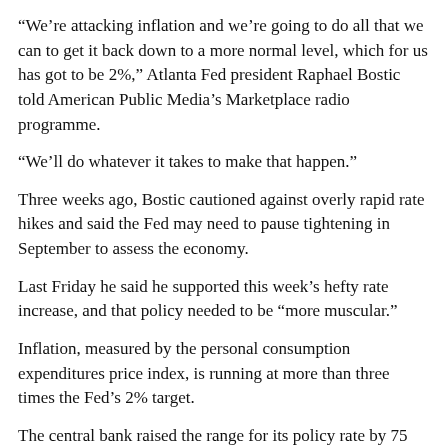“We’re attacking inflation and we’re going to do all that we can to get it back down to a more normal level, which for us has got to be 2%,” Atlanta Fed president Raphael Bostic told American Public Media’s Marketplace radio programme.
“We’ll do whatever it takes to make that happen.”
Three weeks ago, Bostic cautioned against overly rapid rate hikes and said the Fed may need to pause tightening in September to assess the economy.
Last Friday he said he supported this week’s hefty rate increase, and that policy needed to be “more muscular.”
Inflation, measured by the personal consumption expenditures price index, is running at more than three times the Fed’s 2% target.
The central bank raised the range for its policy rate by 75 basis points last Wednesday to 1.50%-1.75% and published forecasts showing most policymakers support lifting borrowing costs further this year to perhaps 3.4%, and higher in 2023.
Economists said such sharp increases could spark a recession.
The reactions of the world’s central “politics” and Bostic’s preference for...